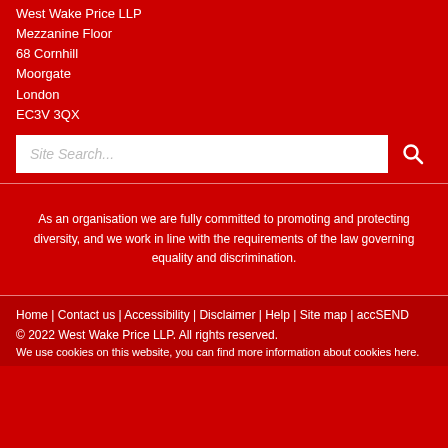West Wake Price LLP
Mezzanine Floor
68 Cornhill
Moorgate
London
EC3V 3QX
Site Search...
As an organisation we are fully committed to promoting and protecting diversity, and we work in line with the requirements of the law governing equality and discrimination.
Home | Contact us | Accessibility | Disclaimer | Help | Site map | accSEND
© 2022 West Wake Price LLP. All rights reserved.
We use cookies on this website, you can find more information about cookies here.